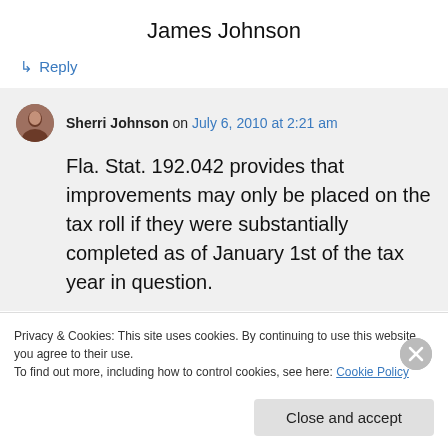James Johnson
↳ Reply
Sherri Johnson on July 6, 2010 at 2:21 am
Fla. Stat. 192.042 provides that improvements may only be placed on the tax roll if they were substantially completed as of January 1st of the tax year in question.
Privacy & Cookies: This site uses cookies. By continuing to use this website, you agree to their use.
To find out more, including how to control cookies, see here: Cookie Policy
Close and accept